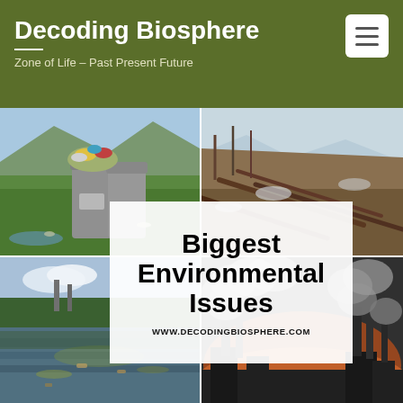Decoding Biosphere
Zone of Life – Past Present Future
[Figure (infographic): A collage of four environmental photographs: top-left shows overflowing trash bins in a field, top-right shows a deforested hillside with fallen trees and snow patches, bottom-left shows a polluted lake with debris and industrial structures in the background, bottom-right shows factory smokestacks emitting thick smoke against a dark orange sunset sky. Overlaid in the center is a white semi-transparent box with the text 'Biggest Environmental Issues' and 'WWW.DECODINGBIOSPHERE.COM' below it.]
Biggest Environmental Issues
WWW.DECODINGBIOSPHERE.COM